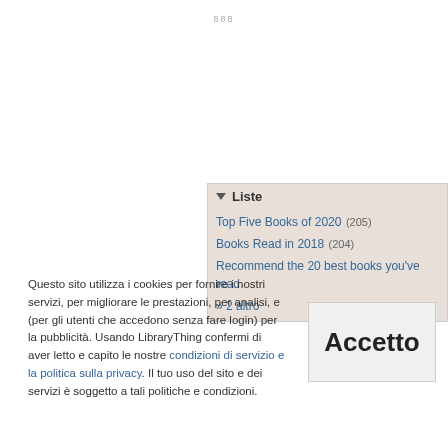888
▼ Liste
Top Five Books of 2020 (205)
Books Read in 2018 (204)
Recommend the 20 best books you've read
» 2 altro
Questo sito utilizza i cookies per fornire i nostri servizi, per migliorare le prestazioni, per analisi, e (per gli utenti che accedono senza fare login) per la pubblicità. Usando LibraryThing confermi di aver letto e capito le nostre condizioni di servizio e la politica sulla privacy. Il tuo uso del sito e dei servizi è soggetto a tali politiche e condizioni.
Accetto